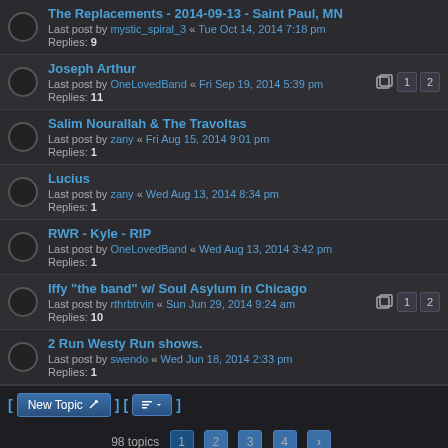The Replacements - 2014-09-13 - Saint Paul, MN
Last post by mystic_spiral_3 « Tue Oct 14, 2014 7:18 pm
Replies: 9
Joseph Arthur
Last post by OneLovedBand « Fri Sep 19, 2014 5:39 pm
Replies: 11
Salim Nourallah & The Travoltas
Last post by zany « Fri Aug 15, 2014 9:01 pm
Replies: 1
Lucius
Last post by zany « Wed Aug 13, 2014 8:34 pm
Replies: 1
RWR - Kyle - RIP
Last post by OneLovedBand « Wed Aug 13, 2014 3:42 pm
Replies: 1
Iffy "the band" w/ Soul Asylum in Chicago
Last post by rthrbtrvin « Sun Jun 29, 2014 9:24 am
Replies: 10
2 Run Westy Run shows.
Last post by swendo « Wed Jun 18, 2014 2:33 pm
Replies: 1
New Topic  |  Sort  |  98 topics  1 2 3 4 >